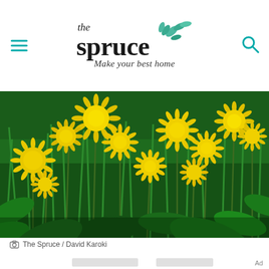the spruce — Make your best home
[Figure (photo): Close-up photograph of bright yellow dandelion flowers in bloom against a lush green background of grass and leaves]
The Spruce / David Karoki
[Figure (other): Two light gray placeholder/loading rectangles representing advertisement or image content placeholders]
Ad